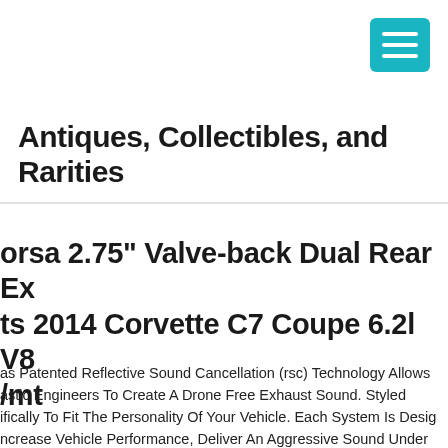Antiques, Collectibles, and Rarities
orsa 2.75" Valve-back Dual Rear Ex ts 2014 Corvette C7 Coupe 6.2l V8 /mt
as Patented Reflective Sound Cancellation (rsc) Technology Allows astic Engineers To Create A Drone Free Exhaust Sound. Styled ifically To Fit The Personality Of Your Vehicle. Each System Is Desig ncrease Vehicle Performance, Deliver An Aggressive Sound Under eleration And A Drone-free Experience During Cruise. Performance s Are Not Affected By Sound Choice. Sport Valve Back Exhaust Syste Rear Exit 2.75 In. Dia. Incl. Mufflerpipesclampsquad 4.5 In. Polishe series Tips 14-16 Corvette C7 6.2lv8